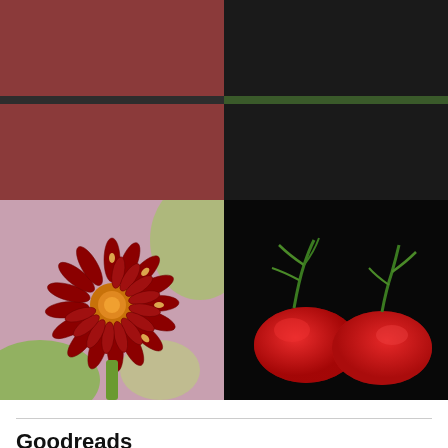[Figure (photo): Close-up photo of a red and yellow dahlia flower against a pink/green background]
[Figure (photo): Two round red tomatoes with green stems/leaves against a black background]
Goodreads
The Book of Chocolate Saints
by Jeet Thayil
The People in the Trees
by Hanya Yanagihara